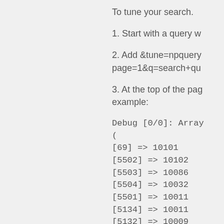To tune your search.
1. Start with a query w
2. Add &tune=npquery page=1&q=search+qu
3. At the top of the pag example:
Debug [0/0]: Array
(
[69] => 10101
[5502] => 10102
[5503] => 10086
[5504] => 10032
[5501] => 10011
[5134] => 10011
[5132] => 10009